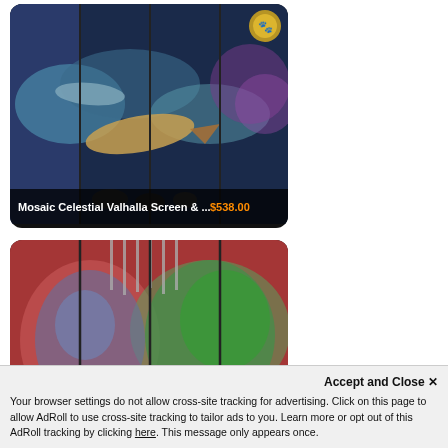[Figure (photo): Product listing card: Mosaic Celestial Valhalla Screen with ocean/whale artwork on decorative panels, gold badge icon in top right. Price label shows $538.00]
Mosaic Celestial Valhalla Screen & ... $538.00
[Figure (photo): Product listing card: Mosaic Four Horsemen Valhalla Screen with colorful psychedelic artwork on panels in red/green tones. Price label shows $500.00]
Mosaic Four Horsemen Valhalla Scree... $500.00
[Figure (photo): Third product card partially visible at bottom, dark background with partial product image]
Accept and Close ×
Your browser settings do not allow cross-site tracking for advertising. Click on this page to allow AdRoll to use cross-site tracking to tailor ads to you. Learn more or opt out of this AdRoll tracking by clicking here. This message only appears once.